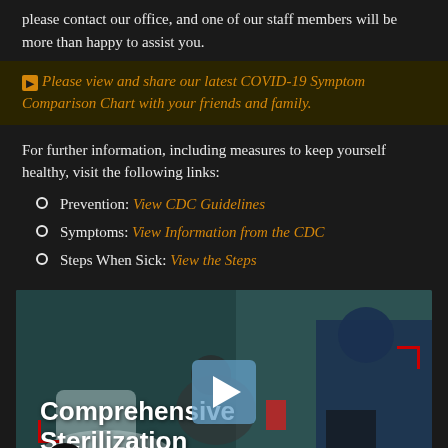please contact our office, and one of our staff members will be more than happy to assist you.
Please view and share our latest COVID-19 Symptom Comparison Chart with your friends and family.
For further information, including measures to keep yourself healthy, visit the following links:
Prevention: View CDC Guidelines
Symptoms: View Information from the CDC
Steps When Sick: View the Steps
[Figure (screenshot): Video thumbnail showing dental office sterilization scene with text 'Comprehensive Sterilization' and a play button overlay. Red corner brackets visible. Accessibility wheelchair icon in bottom left.]